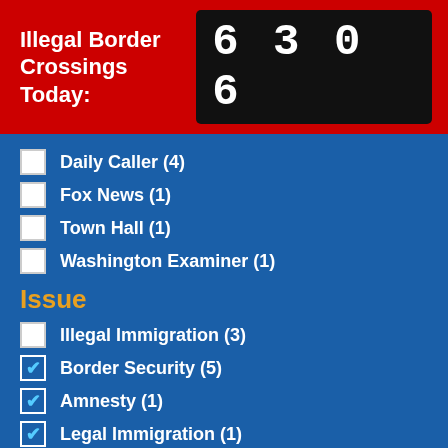Illegal Border Crossings Today: 6306
Daily Caller (4)
Fox News (1)
Town Hall (1)
Washington Examiner (1)
Issue
Illegal Immigration (3)
Border Security (5)
Amnesty (1)
Legal Immigration (1)
Published Date
August 2022 (4)
July 2022 (2)
May 2022 (2)